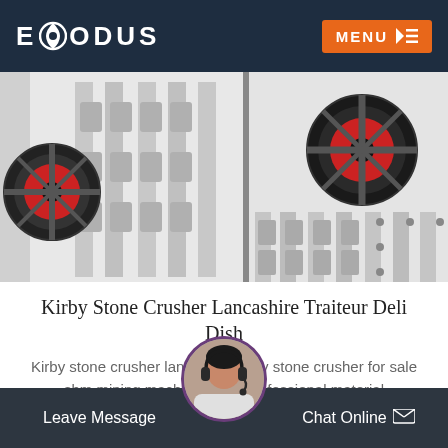EXODUS  MENU
[Figure (photo): Industrial stone crusher machinery with large black and red flywheel, white metal frame structure, multiple jaw plate chambers visible]
Kirby Stone Crusher Lancashire Traiteur Deli Dish
Kirby stone crusher lancashire kirby stone crusher for sale sbm mining machinery is a professional material processing...
READ MORE
[Figure (photo): Customer service representative wearing headset, circular avatar]
Leave Message   Chat Online